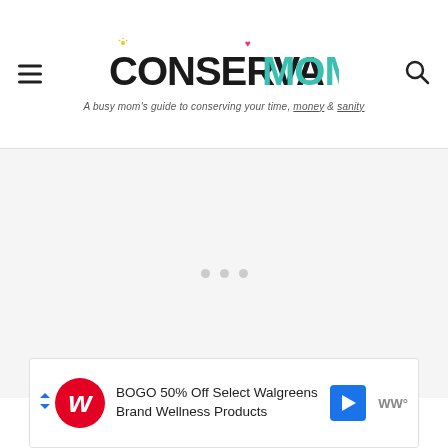ConservaMom – A busy mom's guide to conserving your time, money & sanity
[Figure (other): Loading placeholder area with three gray dots centered in a light gray rectangle]
[Figure (other): Advertisement banner: BOGO 50% Off Select Walgreens Brand Wellness Products, with Walgreens W logo, blue navigation arrow icon, and WW logo]